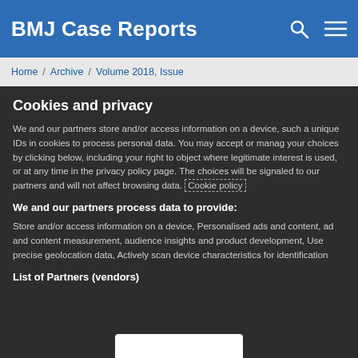BMJ Case Reports
Home / Archive / Volume 2018, Issue
Cookies and privacy
We and our partners store and/or access information on a device, such as unique IDs in cookies to process personal data. You may accept or manage your choices by clicking below, including your right to object where legitimate interest is used, or at any time in the privacy policy page. These choices will be signaled to our partners and will not affect browsing data. Cookie policy
We and our partners process data to provide:
Store and/or access information on a device, Personalised ads and content, ad and content measurement, audience insights and product development, Use precise geolocation data, Actively scan device characteristics for identification
List of Partners (vendors)